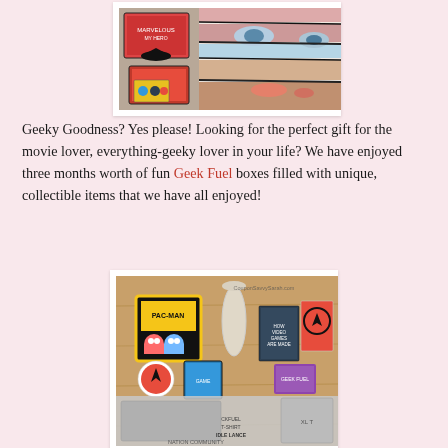[Figure (photo): Photo of DC Comics collectible items including Batman v Superman themed boxes and a comic book mosaic of a superhero face]
Geeky Goodness? Yes please! Looking for the perfect gift for the movie lover, everything-geeky lover in your life? We have enjoyed three months worth of fun Geek Fuel boxes filled with unique, collectible items that we have all enjoyed!
[Figure (photo): Photo of Geek Fuel subscription box contents spread on a wooden table including Pac-Man figurines, books, stickers, and a t-shirt. Watermark reads CouponSavvySarah.com]